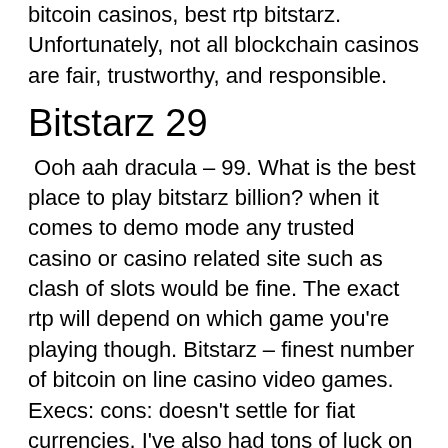bitcoin casinos, best rtp bitstarz. Unfortunately, not all blockchain casinos are fair, trustworthy, and responsible.
Bitstarz 29
Ooh aah dracula – 99. What is the best place to play bitstarz billion? when it comes to demo mode any trusted casino or casino related site such as clash of slots would be fine. The exact rtp will depend on which game you're playing though. Bitstarz – finest number of bitcoin on line casino video games. Execs: cons: doesn't settle for fiat currencies. I've also had tons of luck on bitstarz, way more than any other online casino. Customer support is great and they send a nice bonus every. For instance, blackjack neo has a 99. 6% rtp, while european roulette has a 97. Players cannot increase their odds of winning no matter which slot